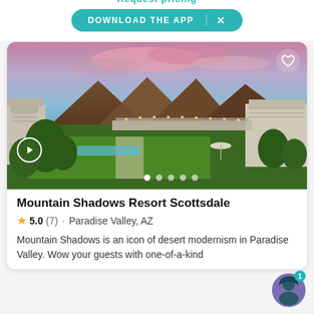Request pricing / DOWNLOAD THE APP
[Figure (photo): Resort photo of Mountain Shadows Resort Scottsdale showing lush green lawn, modern buildings, mountains and pink-purple sunset sky]
Mountain Shadows Resort Scottsdale
★ 5.0 (7) · Paradise Valley, AZ
Mountain Shadows is an icon of desert modernism in Paradise Valley. Wow your guests with one-of-a-kind